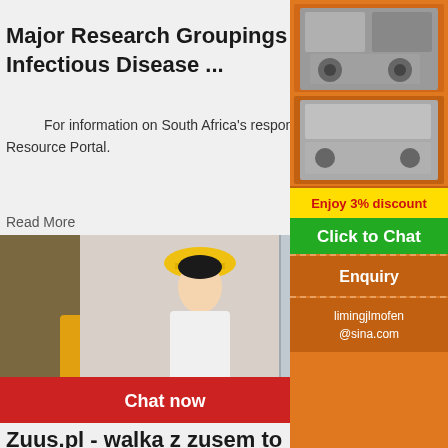[Figure (photo): Top cropped image (partial)]
Major Research Groupings Institute Of Infectious Disease ...
For information on South Africa's response to COVID-19 please visit the COVID-19 Corona Virus South African Resource Portal.
Read More
[Figure (screenshot): Live chat popup overlay with person in hard hat, LIVE CHAT title, Chat now and Chat later buttons]
Zuus.pl - walka z zusem to nie jest heca...
Portal Zuus.pl ma pomagać w walce sądo... ZUS poprzez dostęp do udokumentowanej in... spraw sądowych. Jako autorzy portalu prezem... własny przykładowy materiał sądowy i zachęcamy do
[Figure (screenshot): Right sidebar advertisement with orange background, machinery images, Enjoy 3% discount, Click to Chat, Enquiry, limingjlmofen@sina.com]